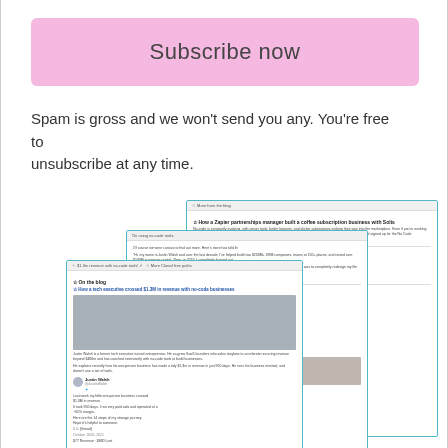Subscribe now
Spam is gross and we won't send you any. You're free to unsubscribe at any time.
[Figure (screenshot): Three overlapping newsletter preview cards with teal/cyan borders showing blog content, articles, and images from what appears to be a no-code business newsletter.]